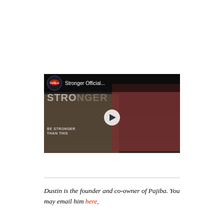[Figure (screenshot): YouTube video thumbnail/embed showing 'Stronger Official...' with a play button overlay. Scene shows two people in what appears to be a dramatic moment. Channel icon visible in top left with video title text.]
Dustin is the founder and co-owner of Pajiba. You may email him here,